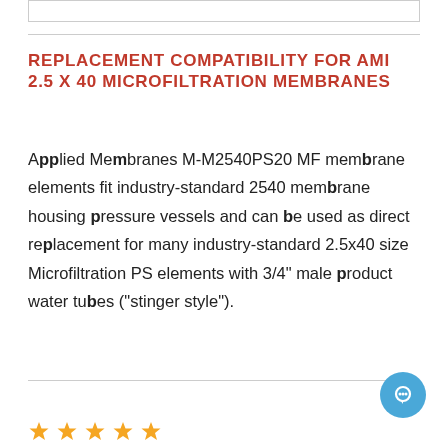REPLACEMENT COMPATIBILITY FOR AMI 2.5 X 40 MICROFILTRATION MEMBRANES
Applied Membranes M-M2540PS20 MF membrane elements fit industry-standard 2540 membrane housing pressure vessels and can be used as direct replacement for many industry-standard 2.5x40 size Microfiltration PS elements with 3/4" male product water tubes ("stinger style").